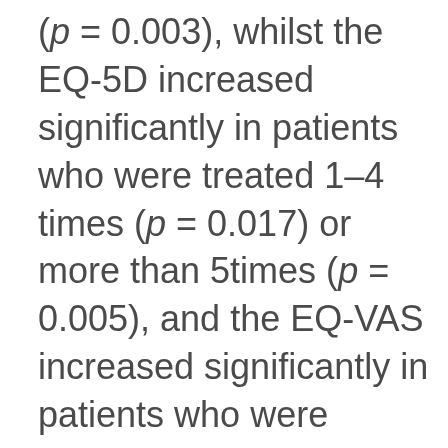(p = 0.003), whilst the EQ-5D increased significantly in patients who were treated 1–4 times (p = 0.017) or more than 5times (p = 0.005), and the EQ-VAS increased significantly in patients who were treated 1–4 times (p = 0.008) or more than 5 times (p = 0.004; Table 4).